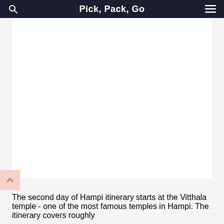Pick, Pack, Go
[Figure (photo): Large white/blank image placeholder area for a Hampi travel photo]
The second day of Hampi itinerary starts at the Vitthala temple - one of the most famous temples in Hampi. The itinerary covers roughly